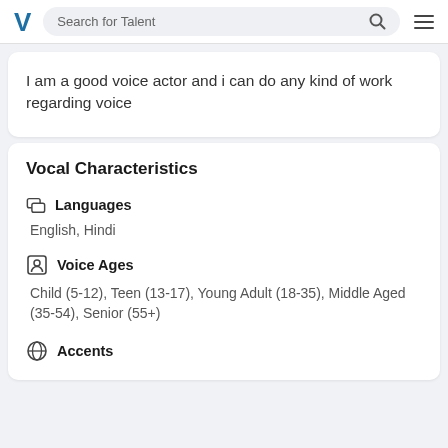Search for Talent
I am a good voice actor and i can do any kind of work regarding voice
Vocal Characteristics
Languages
English, Hindi
Voice Ages
Child (5-12), Teen (13-17), Young Adult (18-35), Middle Aged (35-54), Senior (55+)
Accents